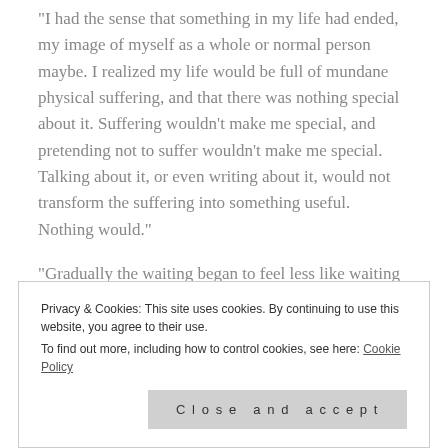“I had the sense that something in my life had ended, my image of myself as a whole or normal person maybe. I realized my life would be full of mundane physical suffering, and that there was nothing special about it. Suffering wouldn’t make me special, and pretending not to suffer wouldn’t make me special. Talking about it, or even writing about it, would not transform the suffering into something useful. Nothing would.”
“Gradually the waiting began to feel less like waiting and more like simply what life was: the distracting
Privacy & Cookies: This site uses cookies. By continuing to use this website, you agree to their use. To find out more, including how to control cookies, see here: Cookie Policy
Close and accept
makes my suffering useful, and often my life feels like